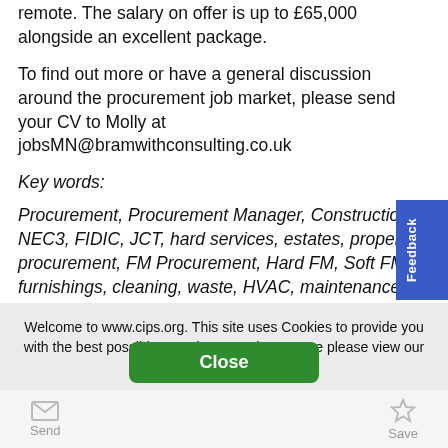remote. The salary on offer is up to £65,000 alongside an excellent package.
To find out more or have a general discussion around the procurement job market, please send your CV to Molly at jobsMN@bramwithconsulting.co.uk
Key words:
Procurement, Procurement Manager, Construction, NEC3, FIDIC, JCT, hard services, estates, property procurement, FM Procurement, Hard FM, Soft FM, furnishings, cleaning, waste, HVAC, maintenance, refurbishment, engineering, purchasing, strategic procurement, strategic sourcing, procurement operations, senior stakeholders, Manchester, Chester,
Welcome to www.cips.org. This site uses Cookies to provide you with the best possible experience. To learn more please view our Cookie Notice.